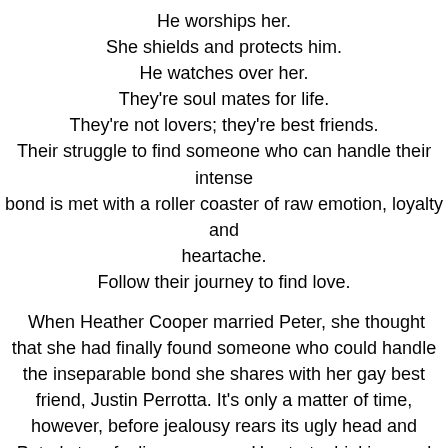He worships her.
She shields and protects him.
He watches over her.
They're soul mates for life.
They're not lovers; they're best friends.
Their struggle to find someone who can handle their intense bond is met with a roller coaster of raw emotion, loyalty and heartache.
Follow their journey to find love.
When Heather Cooper married Peter, she thought that she had finally found someone who could handle the inseparable bond she shares with her gay best friend, Justin Perrotta. It's only a matter of time, however, before jealousy rears its ugly head and Peter's true feelings emerge. He starts drinking, and his erratic behavior threatens their marriage.
Burned by an ex-boyfriend, Justin refuses to open his heart to love again. Wild relationships and one-night stands leave him lonely and unfulfilled, even though he won't admit it. He finds love when he least expects it, but his fear of commitment threatens to ruin the best thing that has ever